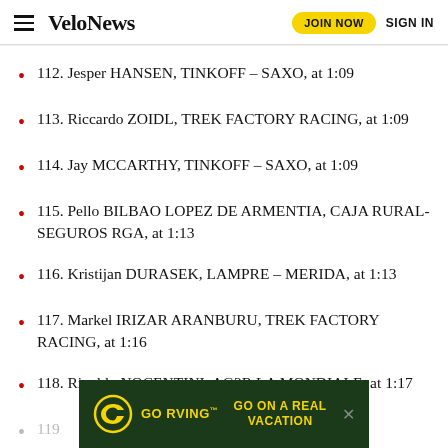VeloNews | JOIN NOW | SIGN IN
112. Jesper HANSEN, TINKOFF – SAXO, at 1:09
113. Riccardo ZOIDL, TREK FACTORY RACING, at 1:09
114. Jay MCCARTHY, TINKOFF – SAXO, at 1:09
115. Pello BILBAO LOPEZ DE ARMENTIA, CAJA RURAL-SEGUROS RGA, at 1:13
116. Kristijan DURASEK, LAMPRE – MERIDA, at 1:13
117. Markel IRIZAR ARANBURU, TREK FACTORY RACING, at 1:16
118. Rinaldo NOCENTINI, AG2R LA MONDIALE, at 1:17
119.
[Figure (infographic): GO RVING advertisement banner with yellow logo and text 'GO ON A REAL VACATION' on dark green background]